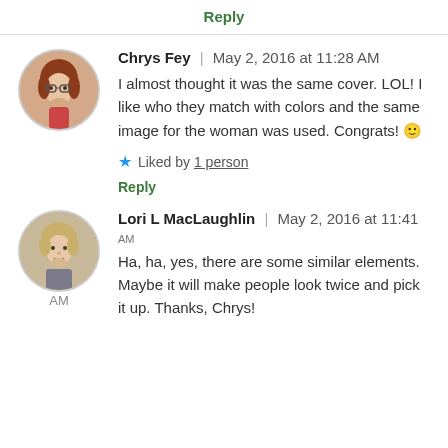Reply
Chrys Fey | May 2, 2016 at 11:28 AM
I almost thought it was the same cover. LOL! I like who they match with colors and the same image for the woman was used. Congrats! 🙂
★ Liked by 1 person
Reply
Lori L MacLaughlin | May 2, 2016 at 11:41 AM
Ha, ha, yes, there are some similar elements. Maybe it will make people look twice and pick it up. Thanks, Chrys!